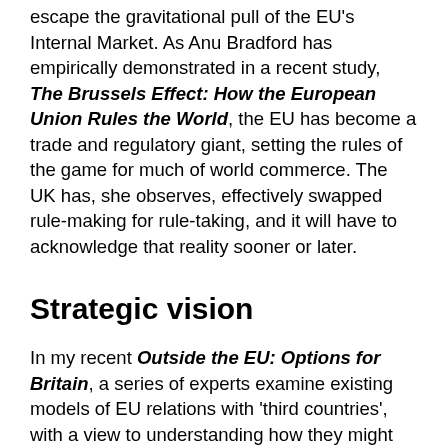escape the gravitational pull of the EU's Internal Market. As Anu Bradford has empirically demonstrated in a recent study, The Brussels Effect: How the European Union Rules the World, the EU has become a trade and regulatory giant, setting the rules of the game for much of world commerce. The UK has, she observes, effectively swapped rule-making for rule-taking, and it will have to acknowledge that reality sooner or later.
Strategic vision
In my recent Outside the EU: Options for Britain, a series of experts examine existing models of EU relations with 'third countries', with a view to understanding how they might be relevant to a new, longer-term relationship between the UK and the EU. What they show is that the EU is far from monolithic, and the system's elasticity enables it to 'tolerate' the idiosyncratic requirements of European countries around